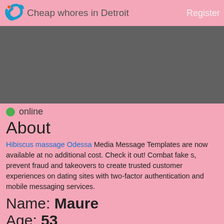Cheap whores in Detroit  Register
[Figure (other): Gray advertisement banner placeholder]
online
About
Hibiscus massage Odessa Media Message Templates are now available at no additional cost. Check it out! Combat fake s, prevent fraud and takeovers to create trusted customer experiences on dating sites with two-factor authentication and mobile messaging services.
Name: Maure
Age: 53